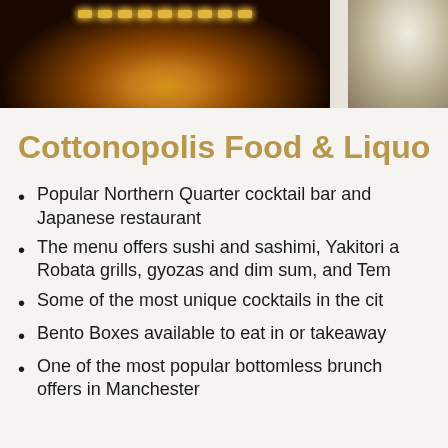[Figure (photo): Two photos side by side: left shows a dark restaurant interior with warm amber/golden overhead lights; right shows a close-up of a food item with sesame seeds on a dark background]
Cottonopolis Food & Liquo
Popular Northern Quarter cocktail bar and Japanese restaurant
The menu offers sushi and sashimi, Yakitori a Robata grills, gyozas and dim sum, and Tem
Some of the most unique cocktails in the cit
Bento Boxes available to eat in or takeaway
One of the most popular bottomless brunch offers in Manchester